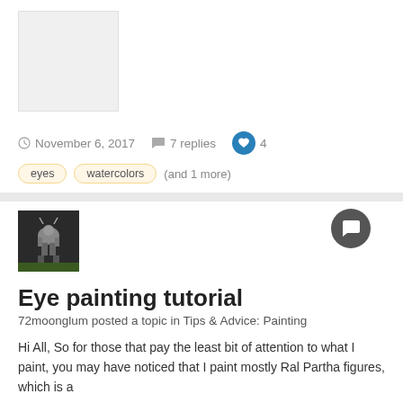[Figure (photo): Light gray placeholder image square]
November 6, 2017   7 replies   4
eyes   watercolors   (and 1 more)
[Figure (photo): Dark thumbnail image of a miniature robot/mech figure on a base with grass]
Eye painting tutorial
72moonglum posted a topic in Tips & Advice: Painting
Hi All, So for those that pay the least bit of attention to what I paint, you may have noticed that I paint mostly Ral Partha figures, which is a
September 20, 2017   19 replies   5
eyes   painting tutorial   (and 2 more)
[Figure (photo): Striped yellow and black thumbnail image at bottom]